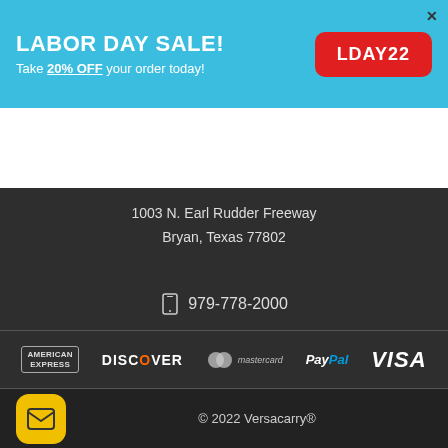[Figure (infographic): Labor Day Sale banner with cyan background showing LABOR DAY SALE! Take 20% OFF your order today! with red button LDAY22 and close X button]
[Figure (logo): Versacarry logo with V chevron icon and VERSACARRY text, hamburger menu on left, search and cart icons on right]
1003 N. Earl Rudder Freeway
Bryan, Texas 77802
979-778-2000
[Figure (infographic): Payment method logos: American Express, Discover, Mastercard, PayPal, Visa on dark background]
[Figure (infographic): Yellow rounded square mail/email icon button]
© 2022 Versacarry®